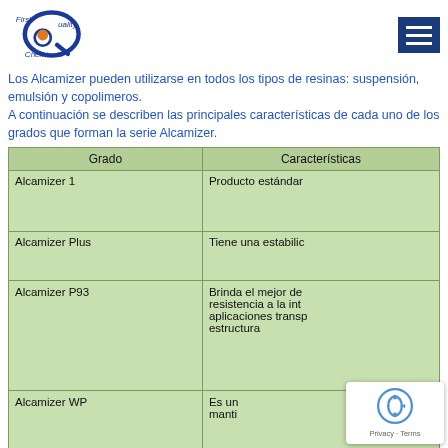First Quality Chemicals
Los Alcamizer pueden utilizarse en todos los tipos de resinas: suspensión, emulsión y copolimeros.
A continuación se describen las principales características de cada uno de los grados que forman la serie Alcamizer.
| Grado | Características |
| --- | --- |
| Alcamizer 1 | Producto estándar |
| Alcamizer Plus | Tiene una estabilic... |
| Alcamizer P93 | Brinda el mejor de... resistencia a la int... aplicaciones transp... estructura |
| Alcamizer WP | Es un... manti... |